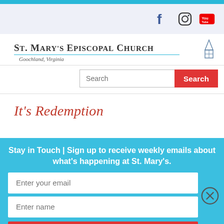[Figure (logo): Social media icons: Facebook, Instagram, YouTube]
St. Mary's Episcopal Church — Goochland, Virginia
[Figure (other): Search bar with red Search button]
It's Redemption
Stay in Touch | Sign up to receive weekly emails about what's happening at St. Mary's.
[Figure (other): Email signup form with Enter your email, Enter name fields and Subscribe button]